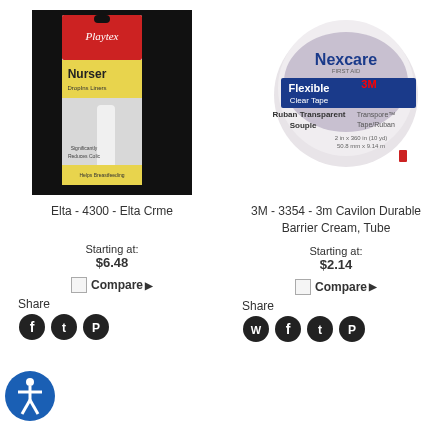[Figure (photo): Playtex Nurser with DropIns Liners baby bottle product box on black background]
[Figure (photo): Nexcare 3M Flexible Clear Tape / Ruban Transparent Souple round dispenser, Transpore Tape/Ruban, 2in x 360in]
Elta - 4300 - Elta Crme
3M - 3354 - 3m Cavilon Durable Barrier Cream, Tube
Starting at:
$6.48
Starting at:
$2.14
Compare
Share
Compare
Share